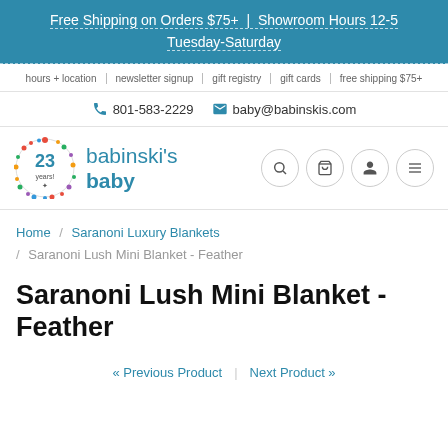Free Shipping on Orders $75+ | Showroom Hours 12-5 Tuesday-Saturday
hours + location | newsletter signup | gift registry | gift cards | free shipping $75+
801-583-2229  baby@babinskis.com
[Figure (logo): Babinski's Baby logo with 23 years badge]
Home / Saranoni Luxury Blankets / Saranoni Lush Mini Blanket - Feather
Saranoni Lush Mini Blanket - Feather
« Previous Product | Next Product »